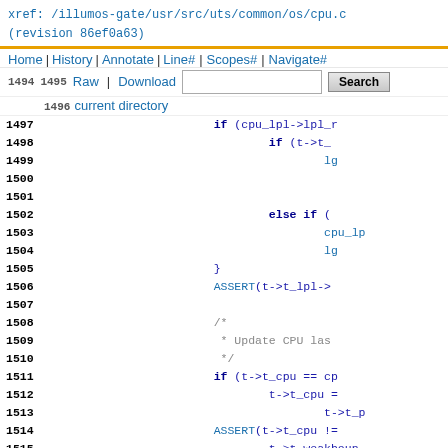xref: /illumos-gate/usr/src/uts/common/os/cpu.c
(revision 86ef0a63)
Home | History | Annotate | Line# | Scopes# | Navigate#
Raw | Download  [search box] Search
current directory
[Figure (screenshot): Source code viewer showing lines 1494-1519 of /illumos-gate/usr/src/uts/common/os/cpu.c with syntax highlighting]
1494-1519 source code lines including if/else if blocks, ASSERT statements, CPU last update comment, while loop